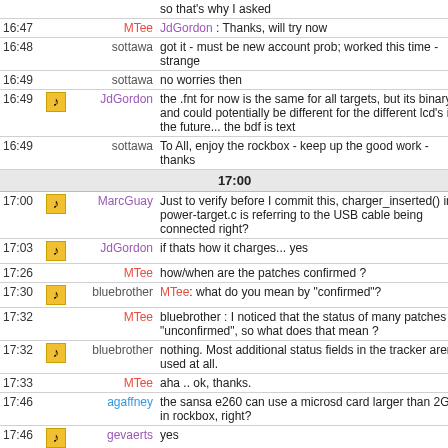| Time | Icon | Nick | Message |
| --- | --- | --- | --- |
|  |  |  | so that's why I asked |
| 16:47 |  | MTee | JdGordon : Thanks, will try now |
| 16:48 |  | sottawa | got it - must be new account prob; worked this time - strange |
| 16:49 |  | sottawa | no worries then |
| 16:49 | icon | JdGordon | the .fnt for now is the same for all targets, but its binary and could potentially be different for the different lcd's in the future... the bdf is text |
| 16:49 |  | sottawa | To All, enjoy the rockbox - keep up the good work - thanks |
| 17:00 |  |  | 17:00 |
| 17:00 | icon | MarcGuay | Just to verify before I commit this, charger_inserted() in power-target.c is referring to the USB cable being connected right? |
| 17:03 | icon | JdGordon | if thats how it charges... yes |
| 17:26 |  | MTee | how/when are the patches confirmed ? |
| 17:30 | icon | bluebrother | MTee: what do you mean by "confirmed"? |
| 17:32 |  | MTee | bluebrother : I noticed that the status of many patches is "unconfirmed", so what does that mean ? |
| 17:32 | icon | bluebrother | nothing. Most additional status fields in the tracker aren't used at all. |
| 17:33 |  | MTee | aha .. ok, thanks. |
| 17:46 |  | agaffney | the sansa e260 can use a microsd card larger than 2GB in rockbox, right? |
| 17:46 | icon | gevaerts | yes |
| 17:46 |  | agaffney | I'll just have to put files on it with a card reader, since the stock firmware only supports up to 2GB? |